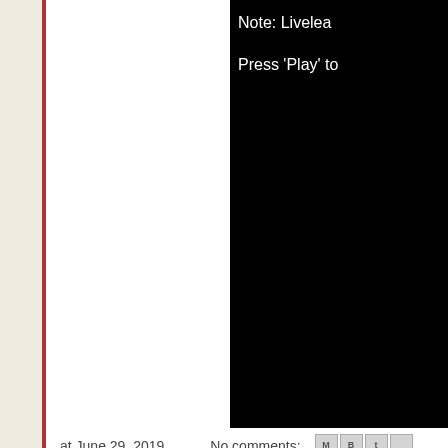[Figure (screenshot): Black video player area with white text: 'Note: Livelea...' and 'Press Play to ...']
at June 29, 2019   No comments:
Indian Air Force (IAF) Pilot Forced To Dump F... Birds.....
[Figure (screenshot): Dark gray video player area at bottom right]